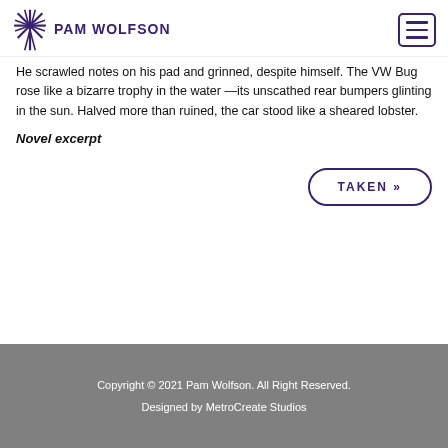PAM WOLFSON
He scrawled notes on his pad and grinned, despite himself. The VW Bug rose like a bizarre trophy in the water —its unscathed rear bumpers glinting in the sun. Halved more than ruined, the car stood like a sheared lobster.
Novel excerpt
TAKEN »
Copyright © 2021 Pam Wolfson. All Right Reserved.
Designed by MetroCreate Studios